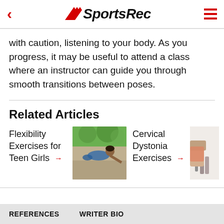SportsRec
with caution, listening to your body. As you progress, it may be useful to attend a class where an instructor can guide you through smooth transitions between poses.
Related Articles
Flexibility Exercises for Teen Girls →
[Figure (photo): Woman doing a flexibility stretch outdoors on the ground]
Cervical Dystonia Exercises →
[Figure (photo): Person doing exercises, partial view]
REFERENCES   WRITER BIO